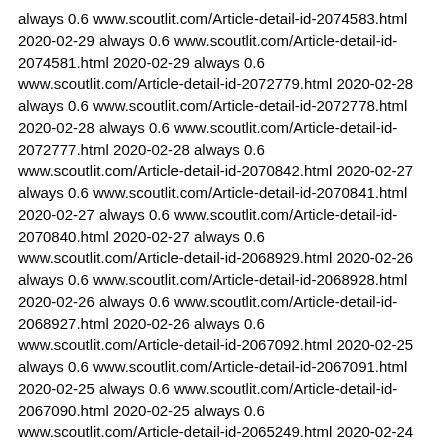always 0.6 www.scoutlit.com/Article-detail-id-2074583.html 2020-02-29 always 0.6 www.scoutlit.com/Article-detail-id-2074581.html 2020-02-29 always 0.6 www.scoutlit.com/Article-detail-id-2072779.html 2020-02-28 always 0.6 www.scoutlit.com/Article-detail-id-2072778.html 2020-02-28 always 0.6 www.scoutlit.com/Article-detail-id-2072777.html 2020-02-28 always 0.6 www.scoutlit.com/Article-detail-id-2070842.html 2020-02-27 always 0.6 www.scoutlit.com/Article-detail-id-2070841.html 2020-02-27 always 0.6 www.scoutlit.com/Article-detail-id-2070840.html 2020-02-27 always 0.6 www.scoutlit.com/Article-detail-id-2068929.html 2020-02-26 always 0.6 www.scoutlit.com/Article-detail-id-2068928.html 2020-02-26 always 0.6 www.scoutlit.com/Article-detail-id-2068927.html 2020-02-26 always 0.6 www.scoutlit.com/Article-detail-id-2067092.html 2020-02-25 always 0.6 www.scoutlit.com/Article-detail-id-2067091.html 2020-02-25 always 0.6 www.scoutlit.com/Article-detail-id-2067090.html 2020-02-25 always 0.6 www.scoutlit.com/Article-detail-id-2065249.html 2020-02-24 always 0.6 www.scoutlit.com/Article-detail-id-2065248.html 2020-02-24 always 0.6 www.scoutlit.com/Article-detail-id-2065247.html 2020-02-24 always 0.6 www.scoutlit.com/Article-detail-id-2063508.html 2020-02-23 always 0.6 www.scoutlit.com/Article-detail-id-2063509.html 2020-02-23 always 0.6 www.scoutlit.com/Article-detail-id-2063507.html 2020-02-23